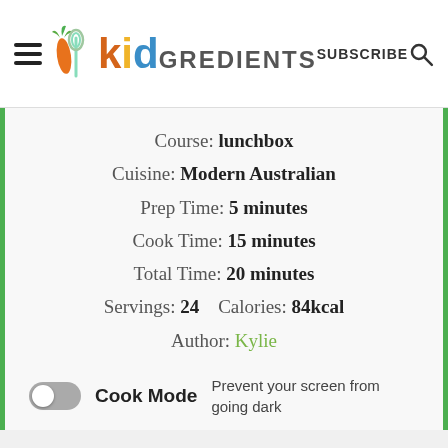kidGREDIENTS  SUBSCRIBE
Course: lunchbox
Cuisine: Modern Australian
Prep Time: 5 minutes
Cook Time: 15 minutes
Total Time: 20 minutes
Servings: 24    Calories: 84kcal
Author: Kylie
Cook Mode  Prevent your screen from going dark